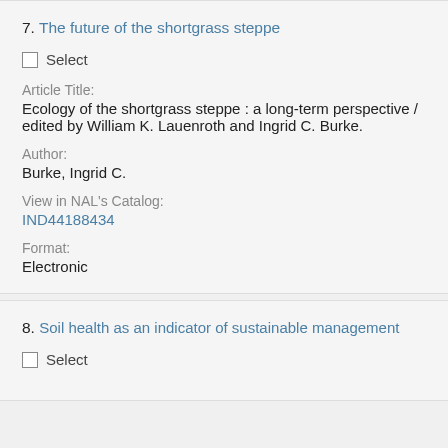7. The future of the shortgrass steppe
Select
Article Title:
Ecology of the shortgrass steppe : a long-term perspective / edited by William K. Lauenroth and Ingrid C. Burke.
Author:
Burke, Ingrid C.
View in NAL's Catalog:
IND44188434
Format:
Electronic
8. Soil health as an indicator of sustainable management
Select